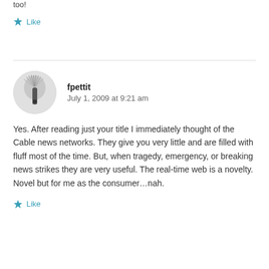too!
★ Like
fpettit
July 1, 2009 at 9:21 am
Yes. After reading just your title I immediately thought of the Cable news networks. They give you very little and are filled with fluff most of the time. But, when tragedy, emergency, or breaking news strikes they are very useful. The real-time web is a novelty. Novel but for me as the consumer…nah.
★ Like